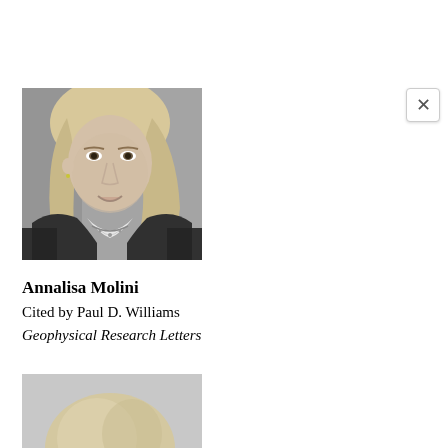[Figure (photo): Black and white portrait photo of Annalisa Molini, a woman with long blonde hair, smiling, wearing a dark jacket and white collared shirt with a necklace.]
Annalisa Molini
Cited by Paul D. Williams
Geophysical Research Letters
[Figure (photo): Black and white portrait photo, partially cropped, showing the top of a person's head with light-colored hair.]